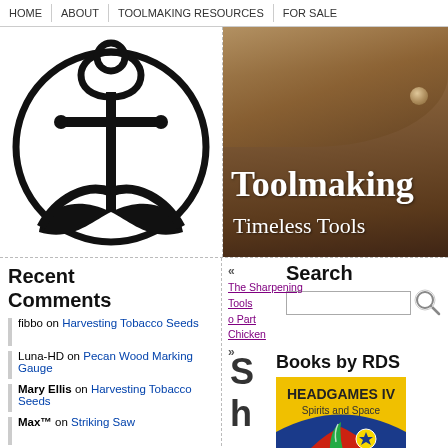HOME | ABOUT | TOOLMAKING RESOURCES | FOR SALE
[Figure (logo): Black anchor logo inside a circle]
[Figure (photo): Wooden tool handles/mallets on dark background with text 'Toolmaking' and 'Timeless Tools']
Recent Comments
fibbo on Harvesting Tobacco Seeds
Luna-HD on Pecan Wood Marking Gauge
Mary Ellis on Harvesting Tobacco Seeds
Max™ on Striking Saw
Steve Byrum on Chicken Feeders
Search
Books by RDS
[Figure (illustration): Book cover: HEADGAMES IV Spirits and Space, colorful abstract cover art]